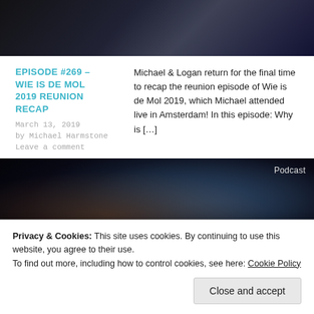[Figure (photo): Dark photo of a TV show audience/event scene at the top of the page]
EPISODE #269 – WIE IS DE MOL 2019 REUNION RECAP
March 13, 2019
by Michael Harmstone
Leave a comment
Michael & Logan return for the final time to recap the reunion episode of Wie is de Mol 2019, which Michael attended live in Amsterdam! In this episode: Why is […]
[Figure (photo): Dark close-up photo of a woman's face with blue lighting, labeled 'Podcast' in top right]
EPISODE #269 – WIE IS DE MOL 2019 REUNION RECAP
pub crawl? We [...]
Privacy & Cookies: This site uses cookies. By continuing to use this website, you agree to their use.
To find out more, including how to control cookies, see here: Cookie Policy
Close and accept